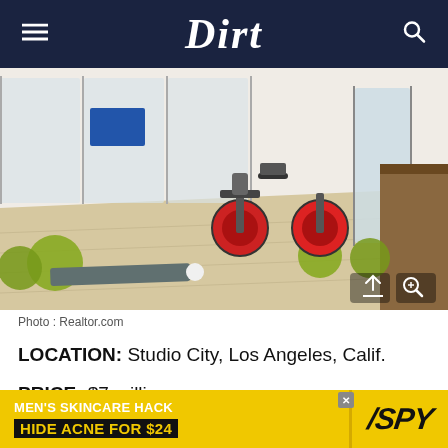Dirt
[Figure (photo): Interior photo of a luxury home gym with spin bikes, exercise balls, mirrors, and light wood flooring. Source: Realtor.com]
Photo : Realtor.com
LOCATION: Studio City, Los Angeles, Calif.
PRICE: $7 million
[Figure (other): Advertisement banner: MEN'S SKINCARE HACK - HIDE ACNE FOR $24 - SPY]